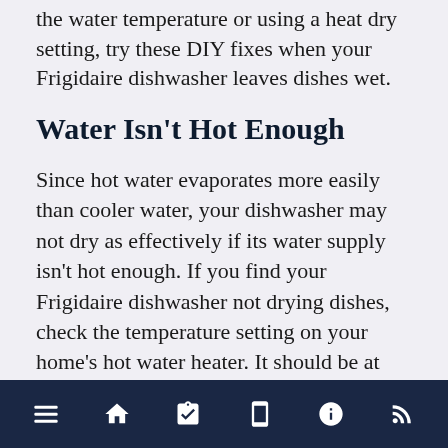the water temperature or using a heat dry setting, try these DIY fixes when your Frigidaire dishwasher leaves dishes wet.
Water Isn't Hot Enough
Since hot water evaporates more easily than cooler water, your dishwasher may not dry as effectively if its water supply isn't hot enough. If you find your Frigidaire dishwasher not drying dishes, check the temperature setting on your home's hot water heater. It should be at least 120°F to be hot enough for proper drying.
Sometimes, it can take several minutes for your home's water to heat and reach the dishwasher.
Navigation bar with icons: menu, home, checklist, mobile, info, RSS